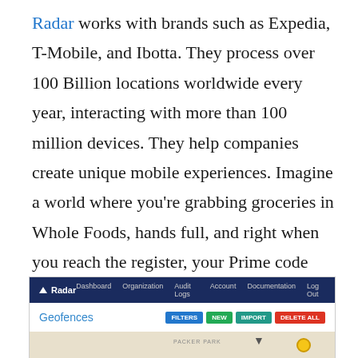Radar works with brands such as Expedia, T-Mobile, and Ibotta. They process over 100 Billion locations worldwide every year, interacting with more than 100 million devices. They help companies create unique mobile experiences. Imagine a world where you're grabbing groceries in Whole Foods, hands full, and right when you reach the register, your Prime code pops up magically to scan. That's what Radar's all about.
[Figure (screenshot): Screenshot of Radar web app showing navigation bar with Dashboard, Organization, Audit Logs, Account, Documentation, Log Out links, and a Geofences page with FILTERS, NEW, IMPORT, DELETE ALL buttons, and a partial map view showing Packer Park area.]